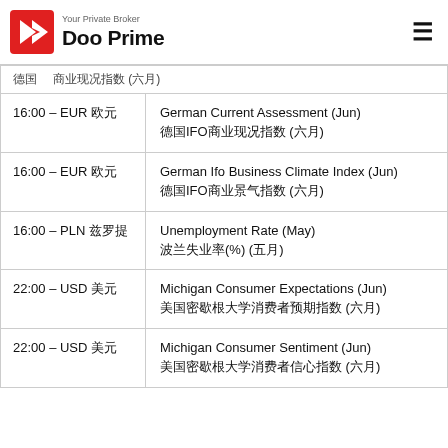[Figure (logo): Doo Prime logo with tagline 'Your Private Broker' and hamburger menu icon]
| Time / Currency | Event |
| --- | --- |
| 德国* *商业现况指数 (六月) |  |
| 16:00 – EUR 欧元 | German Current Assessment (Jun)
德国IFO商业现况指数 (六月) |
| 16:00 – EUR 欧元 | German Ifo Business Climate Index (Jun)
德国IFO商业景气指数 (六月) |
| 16:00 – PLN 兹罗提 | Unemployment Rate (May)
波兰失业率(%) (五月) |
| 22:00 – USD 美元 | Michigan Consumer Expectations (Jun)
美国密歇根大学消费者预期指数 (六月) |
| 22:00 – USD 美元 | Michigan Consumer Sentiment (Jun)
美国密歇根大学消费者信心指数 (六月) |